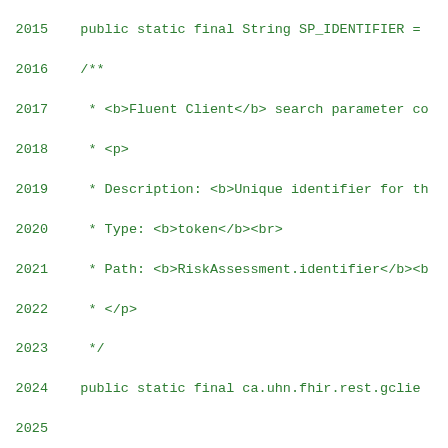[Figure (screenshot): Source code listing showing Java code with line numbers 2015-2043, displaying Javadoc comments and public static final field declarations for FHIR search parameters (SP_IDENTIFIER, SP_CONDITION) with annotations.]